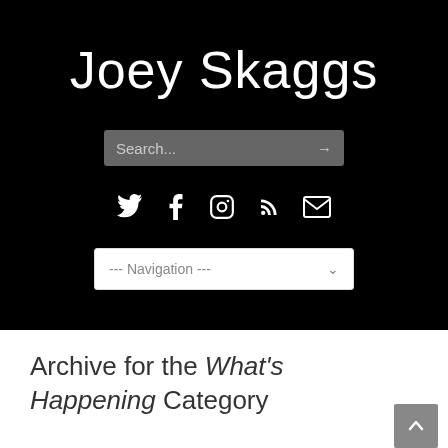Joey Skaggs
[Figure (screenshot): Search bar with placeholder text 'Search...' and right arrow, on dark background]
[Figure (screenshot): Row of social media icons: Twitter bird, Facebook f, Instagram camera, RSS feed, envelope/email]
[Figure (screenshot): Navigation dropdown selector showing '--- Navigation ---' with chevron]
Archive for the What's Happening Category